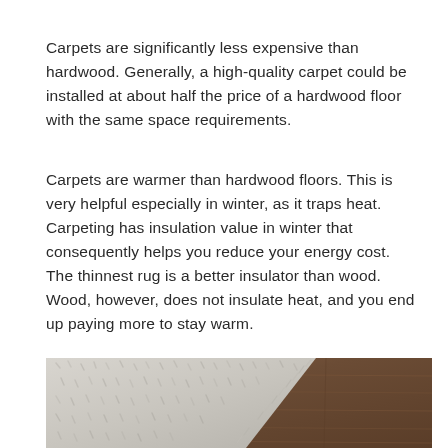Carpets are significantly less expensive than hardwood. Generally, a high-quality carpet could be installed at about half the price of a hardwood floor with the same space requirements.
Carpets are warmer than hardwood floors. This is very helpful especially in winter, as it traps heat. Carpeting has insulation value in winter that consequently helps you reduce your energy cost. The thinnest rug is a better insulator than wood. Wood, however, does not insulate heat, and you end up paying more to stay warm.
[Figure (photo): Photo showing a fluffy light grey/white shag carpet next to dark brown hardwood flooring, viewed from above at an angle, illustrating the contrast between carpet and hardwood floor materials.]